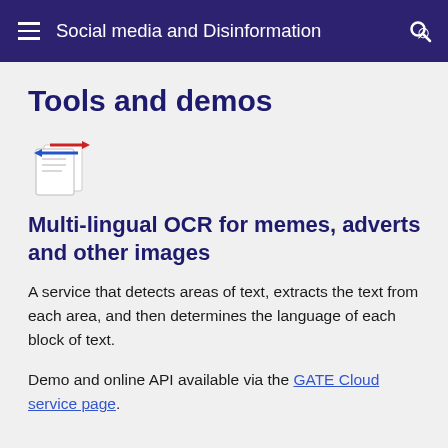Social media and Disinformation
Tools and demos
[Figure (logo): OCR tool icon showing two documents with red and blue arrows pointing in opposite directions]
Multi-lingual OCR for memes, adverts and other images
A service that detects areas of text, extracts the text from each area, and then determines the language of each block of text.
Demo and online API available via the GATE Cloud service page.